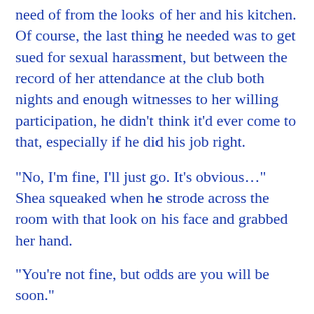need of from the looks of her and his kitchen. Of course, the last thing he needed was to get sued for sexual harassment, but between the record of her attendance at the club both nights and enough witnesses to her willing participation, he didn’t think it’d ever come to that, especially if he did his job right.
“No, I’m fine, I’ll just go. It’s obvious…” Shea squeaked when he strode across the room with that look on his face and grabbed her hand.
“You’re not fine, but odds are you will be soon.”
Kicking out a small stool, he sat and had her over his lap before she could grasp his intent. “Be still.” He punctuated his order with a hard swat on her wriggling butt then jerked down her loose shorts and slapped her bare ass. “Settle down and remember how well this worked last time,